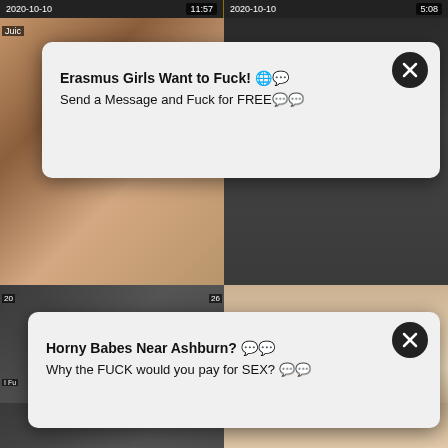[Figure (screenshot): Adult video thumbnail grid with two popup advertisement overlays. Top row shows date 2020-10-10 with durations 11:57 and 5:08. Row 2 left shows partial female image, row 2 right shows dark scene. Row 3 left shows dark scene duration 23:38 with title in non-Latin script and SWAG, row 3 right shows duration 16:01 titled 'Hot Girlfriend Wake Up From A Big Cock'. Row 4 shows two more partial thumbnails. Popup 1: 'Erasmus Girls Want to Fuck! Send a Message and Fuck for FREE'. Popup 2: 'Horny Babes Near Ashburn? Why the FUCK would you pay for SEX?']